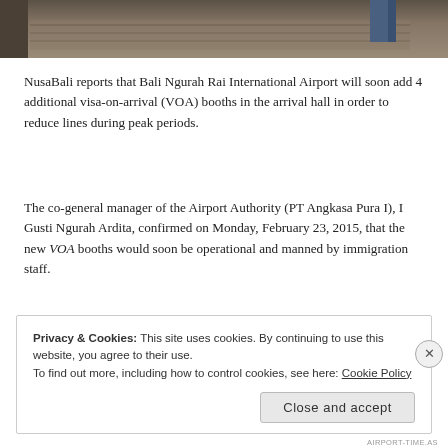[Figure (photo): Partial view of an airport interior, showing floor and structural elements.]
NusaBali reports that Bali Ngurah Rai International Airport will soon add 4 additional visa-on-arrival (VOA) booths in the arrival hall in order to reduce lines during peak periods.
The co-general manager of the Airport Authority (PT Angkasa Pura I), I Gusti Ngurah Ardita, confirmed on Monday, February 23, 2015, that the new VOA booths would soon be operational and manned by immigration staff.
Privacy & Cookies: This site uses cookies. By continuing to use this website, you agree to their use.
To find out more, including how to control cookies, see here: Cookie Policy
[Close and accept]
AIRPORT-TIME.AS